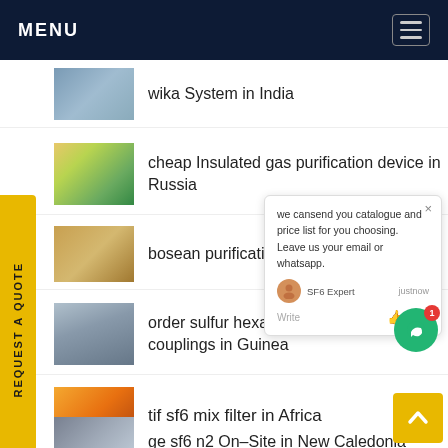MENU
wika System in India
cheap Insulated gas purification device in Russia
bosean purification device
order sulfur hexafluoride couplings in Guinea
tif sf6 mix filter in Africa
ge sf6 n2 On-Site in New Caledonia